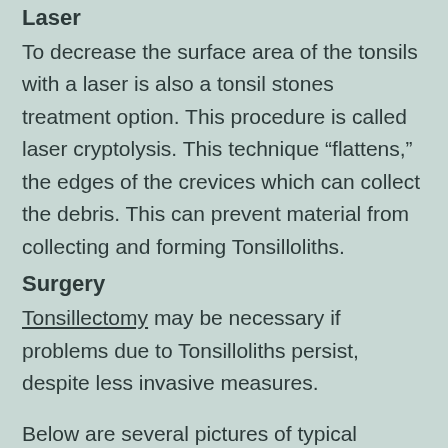Laser
To decrease the surface area of the tonsils with a laser is also a tonsil stones treatment option. This procedure is called laser cryptolysis. This technique “flattens,” the edges of the crevices which can collect the debris. This can prevent material from collecting and forming Tonsilloliths.
Surgery
Tonsillectomy may be necessary if problems due to Tonsilloliths persist, despite less invasive measures.
Below are several pictures of typical